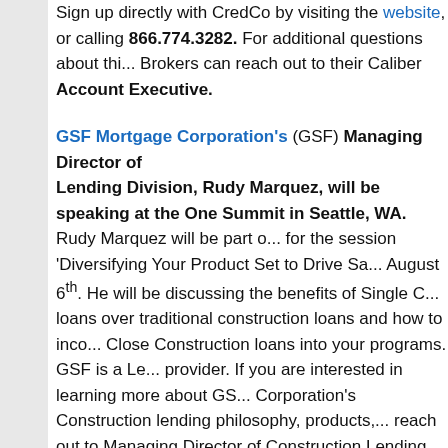Sign up directly with CredCo by visiting the website, or calling 866.774.3282. For additional questions about this, Brokers can reach out to their Caliber Account Executive.
GSF Mortgage Corporation's (GSF) Managing Director of Lending Division, Rudy Marquez, will be speaking at the One Summit in Seattle, WA. Rudy Marquez will be part of the session 'Diversifying Your Product Set to Drive Sa... August 6th. He will be discussing the benefits of Single C... loans over traditional construction loans and how to incorporate Single Close Construction loans into your programs. GSF is a Lender... provider. If you are interested in learning more about GSF Mortgage Corporation's Construction lending philosophy, products, reach out to Managing Director of Construction Lending,
Deal making
Sure, many potential sellers of residential lenders have g...